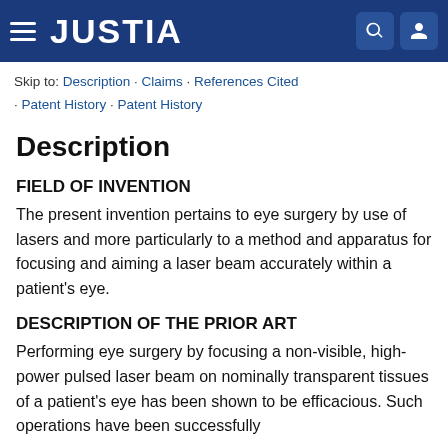JUSTIA
Skip to: Description · Claims · References Cited · Patent History · Patent History
Description
FIELD OF INVENTION
The present invention pertains to eye surgery by use of lasers and more particularly to a method and apparatus for focusing and aiming a laser beam accurately within a patient's eye.
DESCRIPTION OF THE PRIOR ART
Performing eye surgery by focusing a non-visible, high-power pulsed laser beam on nominally transparent tissues of a patient's eye has been shown to be efficacious. Such operations have been successfully